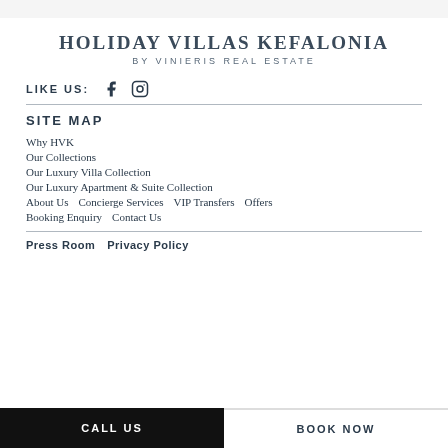HOLIDAY VILLAS KEFALONIA
BY VINIERIS REAL ESTATE
LIKE US:
SITE MAP
Why HVK
Our Collections
Our Luxury Villa Collection
Our Luxury Apartment & Suite Collection
About Us   Concierge Services   VIP Transfers   Offers
Booking Enquiry   Contact Us
Press Room   Privacy Policy
CALL US   BOOK NOW